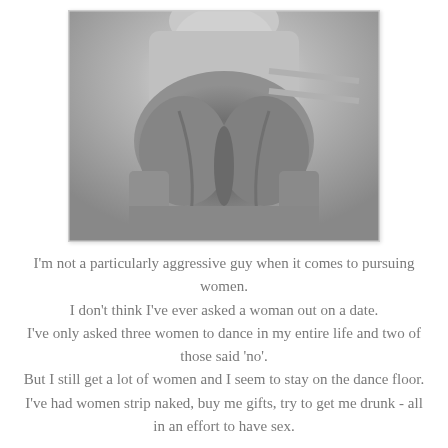[Figure (photo): Black and white photograph showing a person from behind wearing tight pants, with hands gripping the sides.]
I'm not a particularly aggressive guy when it comes to pursuing women. I don't think I've ever asked a woman out on a date. I've only asked three women to dance in my entire life and two of those said 'no'. But I still get a lot of women and I seem to stay on the dance floor. I've had women strip naked, buy me gifts, try to get me drunk - all in an effort to have sex.